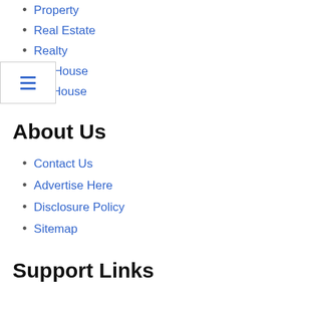Property
Real Estate
Realty
ate House
wn House
About Us
Contact Us
Advertise Here
Disclosure Policy
Sitemap
Support Links
Recommended Links